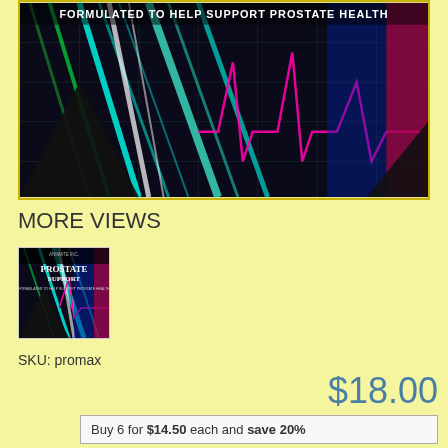[Figure (photo): Product image of Prostate Support supplement - colorful neon lights on dark background with medical chart lines in teal, pink, blue and green colors. Text at top reads FORMULATED TO HELP SUPPORT PROSTATE HEALTH]
MORE VIEWS
[Figure (photo): Small thumbnail of the same Prostate Support product package by Animate Inc with colorful neon background]
SKU: promax
$18.00
Buy 6 for $14.50 each and save 20%